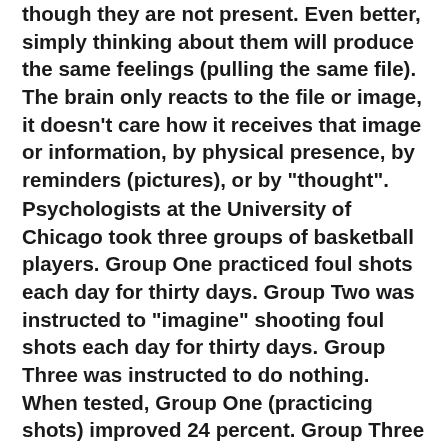though they are not present. Even better, simply thinking about them will produce the same feelings (pulling the same file). The brain only reacts to the file or image, it doesn't care how it receives that image or information, by physical presence, by reminders (pictures), or by "thought".
Psychologists at the University of Chicago took three groups of basketball players. Group One practiced foul shots each day for thirty days. Group Two was instructed to "imagine" shooting foul shots each day for thirty days. Group Three was instructed to do nothing. When tested, Group One (practicing shots) improved 24 percent. Group Three (doing nothing) had no improvement. Group Two, the group that only imagined shooting foul shots, improved 23 percent yet did not physically touch a basketball.
Why? As far as the brain knew, both groups that practiced (real & imagined) had shot foul shots daily but Group Two never missed! Group Two, never missing, was given more emotional confidence by their brain and